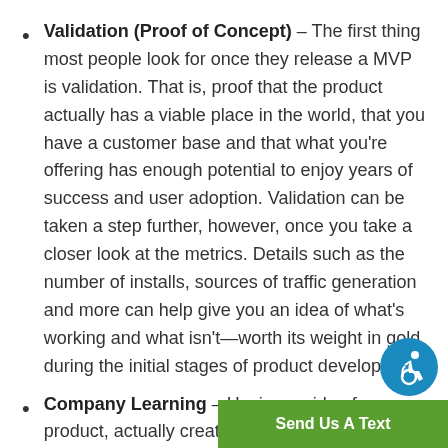Validation (Proof of Concept) – The first thing most people look for once they release a MVP is validation. That is, proof that the product actually has a viable place in the world, that you have a customer base and that what you're offering has enough potential to enjoy years of success and user adoption. Validation can be taken a step further, however, once you take a closer look at the metrics. Details such as the number of installs, sources of traffic generation and more can help give you an idea of what's working and what isn't—worth its weight in gold during the initial stages of product development.
Company Learning – Having an idea for a product, actually creating…